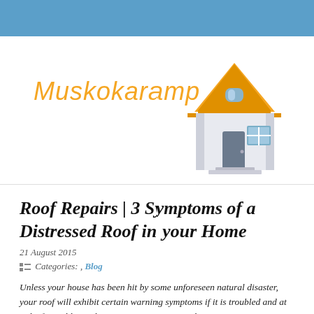[Figure (logo): Muskokaramp website header with logo text in orange italic script and a cartoon house illustration with orange roof]
Roof Repairs | 3 Symptoms of a Distressed Roof in your Home
21 August 2015
Categories: , Blog
Unless your house has been hit by some unforeseen natural disaster, your roof will exhibit certain warning symptoms if it is troubled and at risk of crumbling. These warning signs are either